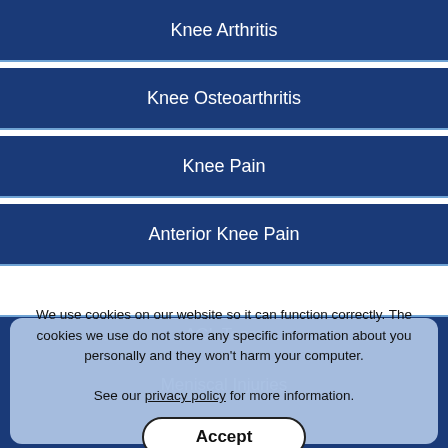Knee Arthritis
Knee Osteoarthritis
Knee Pain
Anterior Knee Pain
ACL Tears
Meniscal Injuries
Meniscal Tears
We use cookies on our website so it can function correctly. The cookies we use do not store any specific information about you personally and they won't harm your computer.
See our privacy policy for more information.